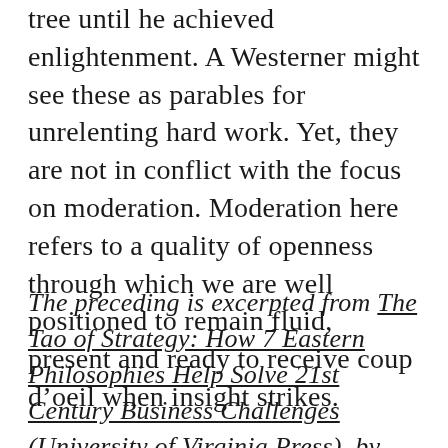tree until he achieved enlightenment. A Westerner might see these as parables for unrelenting hard work. Yet, they are not in conflict with the focus on moderation. Moderation here refers to a quality of openness through which we are well positioned to remain fluid, present and ready to receive coup d’oeil when insight strikes.
The preceding is excerpted from The Tao of Strategy: How 7 Eastern Philosophies Help Solve 21st Century Business Challenges (University of Virginia Press), by L.J. Bourgeois III, Serge Eygenson and Kanokrat Namasondhi, which includes many more